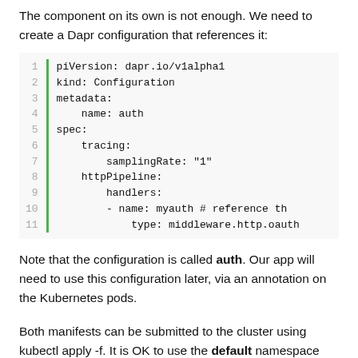The component on its own is not enough. We need to create a Dapr configuration that references it:
[Figure (screenshot): Code block showing YAML configuration with line numbers 1-11 and a green left border. Content: piVersion: dapr.io/v1alpha1, kind: Configuration, metadata:, name: auth, spec:, tracing:, samplingRate: "1", httpPipeline:, handlers:, - name: myauth # reference th, type: middleware.http.oauth]
Note that the configuration is called auth. Our app will need to use this configuration later, via an annotation on the Kubernetes pods.
Both manifests can be submitted to the cluster using kubectl apply -f. It is OK to use the default namespace